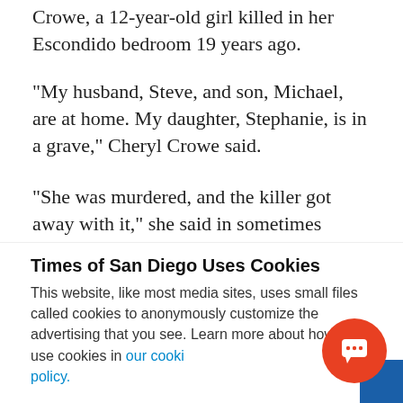Crowe, a 12-year-old girl killed in her Escondido bedroom 19 years ago.
“My husband, Steve, and son, Michael, are at home. My daughter, Stephanie, is in a grave,” Cheryl Crowe said.
“She was murdered, and the killer got away with it,” she said in sometimes tearful comments. “It would have been a lot different if Summer Stephan had not
Times of San Diego Uses Cookies
This website, like most media sites, uses small files called cookies to anonymously customize the advertising that you see. Learn more about how we use cookies in our cookie policy.